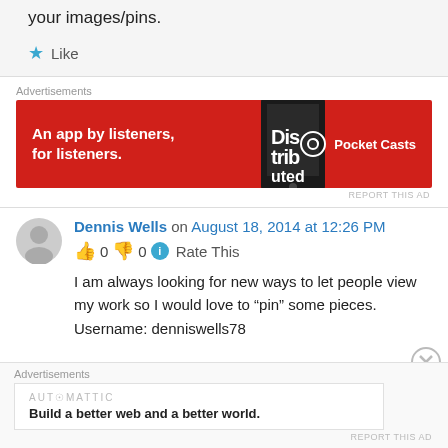your images/pins.
Like
Advertisements
[Figure (illustration): Pocket Casts advertisement banner: red background, text 'An app by listeners, for listeners.' with phone image and Pocket Casts logo]
REPORT THIS AD
Dennis Wells on August 18, 2014 at 12:26 PM
👍 0 👎 0 ℹ Rate This
I am always looking for new ways to let people view my work so I would love to "pin" some pieces. Username: denniswells78
Advertisements
[Figure (illustration): Automattic advertisement: white box with AUTOMATTIC logo and 'Build a better web and a better world.']
REPORT THIS AD